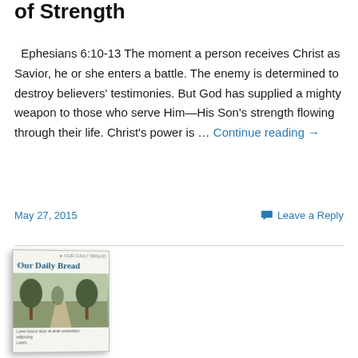of Strength
Ephesians 6:10-13 The moment a person receives Christ as Savior, he or she enters a battle. The enemy is determined to destroy believers' testimonies. But God has supplied a mighty weapon to those who serve Him—His Son's strength flowing through their life. Christ's power is … Continue reading →
May 27, 2015    Leave a Reply
[Figure (photo): Book cover of 'Our Daily Bread' showing a tree-lined path]